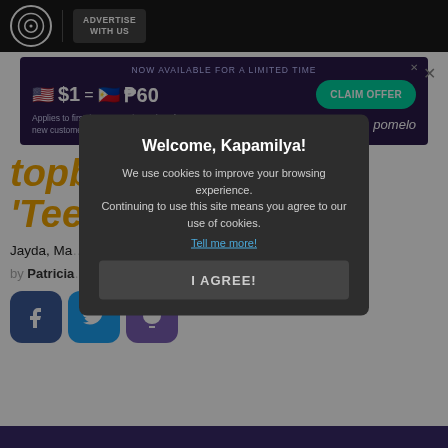ABS-CBN logo | ADVERTISE WITH US
[Figure (screenshot): Advertisement banner: NOW AVAILABLE FOR A LIMITED TIME - $1 = ₱60 - CLAIM OFFER - Applies to first $500 spent in 45 days for new customers. Pomelo branding.]
topbill new series 'Teen Clash!
Jayda, Ma... o Zoe, Jude, and ...
by Patricia...
[Figure (screenshot): Cookie consent modal: Welcome, Kapamilya! We use cookies to improve your browsing experience. Continuing to use this site means you agree to our use of cookies. Tell me more! I AGREE! button]
[Figure (screenshot): Social share icons: Facebook, Twitter, Viber]